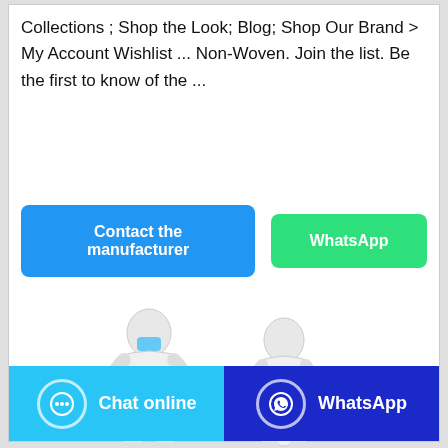Collections ; Shop the Look; Blog; Shop Our Brand > My Account Wishlist ... Non-Woven. Join the list. Be the first to know of the ...
[Figure (other): Two interactive buttons: 'Contact the manufacturer' (blue) and 'WhatsApp' (green)]
[Figure (photo): Two figures wearing white protective coverall suits with blue gloves and blue shoe covers, one showing front view with face mask, one showing back view]
[Figure (other): Bottom bar with two buttons: 'Chat online' (light blue with chat bubble icon) and 'WhatsApp' (dark blue with WhatsApp logo)]